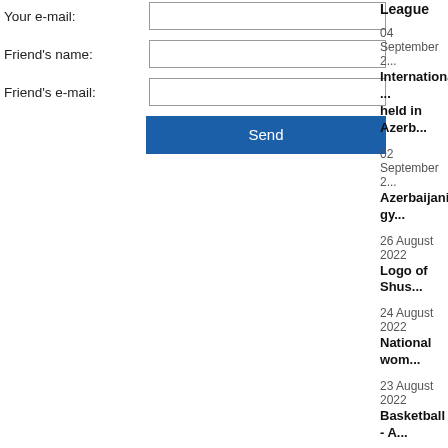Your e-mail:
Friend's name:
Friend's e-mail:
Send
04 September 2...
International ... held in Azerb...
02 September 2...
Azerbaijani gy...
26 August 2022
Logo of Shus...
24 August 2022
National wom...
23 August 2022
Basketball - A...
23 August 2022
National acto...
23 August 2022
Azerbaijani ta...
23 August 2022
AGF represen...
20 August 2022
Casemiro: Ma...
Real Madrid n...